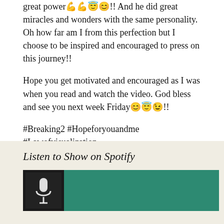great power💪💪😇😊!! And he did great miracles and wonders with the same personality. Oh how far am I from this perfection but I choose to be inspired and encouraged to press on this journey!!
Hope you get motivated and encouraged as I was when you read and watch the video. God bless and see you next week Friday😊😇😉!!
#Breaking2 #Hopeforyouandme #Lawofvisualization
💬 View all 2 comments
Listen to Show on Spotify
[Figure (screenshot): Spotify podcast embed widget with teal/green background and a dark thumbnail image on the left side]